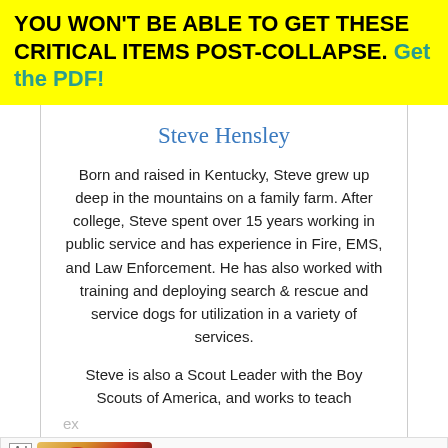YOU WON'T BE ABLE TO GET THESE CRITICAL ITEMS POST-COLLAPSE. Get the PDF!
Steve Hensley
Born and raised in Kentucky, Steve grew up deep in the mountains on a family farm. After college, Steve spent over 15 years working in public service and has experience in Fire, EMS, and Law Enforcement. He has also worked with training and deploying search & rescue and service dogs for utilization in a variety of services.
Steve is also a Scout Leader with the Boy Scouts of America, and works to teach preparedness to the next generation. Steve has worked with and taught firearms and self-defense in multiple venues, from tactical applications to long range shooting, and also has
[Figure (screenshot): Advertisement banner for BitLife - Life Simulator mobile app with Ad label, app icon, app title and Install button]